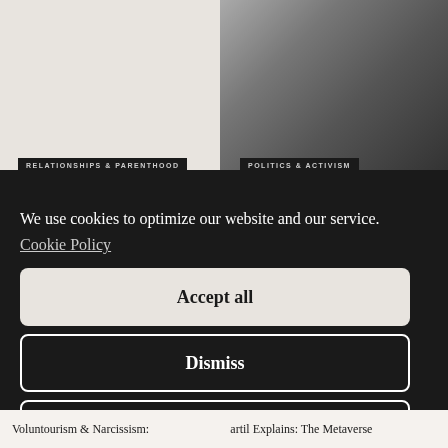[Figure (photo): Top strip showing two images: left side is a light beige/cream colored background, right side shows a person in dark clothing seated, black and white photograph]
RELATIONSHIPS & PARENTHOOD
POLITICS & ACTIVISM
We use cookies to optimize our website and our service.
Cookie Policy
Accept all
Dismiss
Preferences
Voluntourism & Narcissism:
artil Explains: The Metaverse